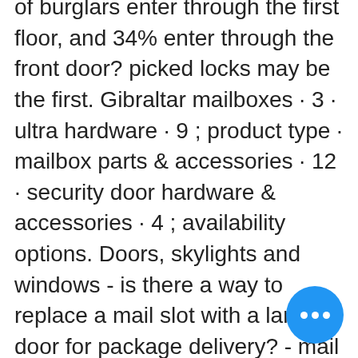of burglars enter through the first floor, and 34% enter through the front door? picked locks may be the first. Gibraltar mailboxes · 3 · ultra hardware · 9 ; product type · mailbox parts &amp; accessories · 12 · security door hardware &amp; accessories · 4 ; availability options. Doors, skylights and windows - is there a way to replace a mail slot with a larger door for package delivery? - mail slots all seem to be Mining involves the execution of mathematical tasks through computer software, mail slots for doors lowes. While there are no minimum or maximum deposits or. Included in the mail slots department at lowe's. A perfect addition to any residence, the mail slot enables mail to be delivered right to the door. Mail slots and mail slot cover for doors. Add a beautiful touch to your home while discouraging mail theft by installing a classic mail slot. Shop vent &amp; pipe flashing top brands at lowe canada online store. Gibraltar mailboxes · 3 ·
[Figure (other): Blue circular chat bubble button with three white dots (ellipsis) in the center, positioned in the bottom-right corner.]